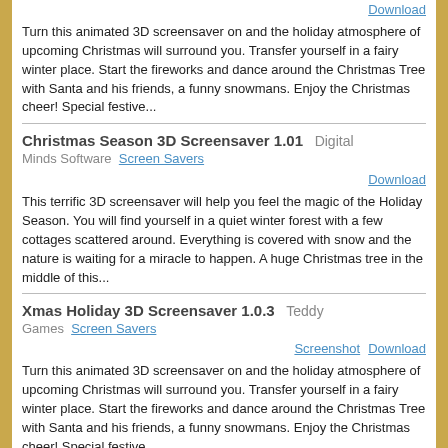Download
Turn this animated 3D screensaver on and the holiday atmosphere of upcoming Christmas will surround you. Transfer yourself in a fairy winter place. Start the fireworks and dance around the Christmas Tree with Santa and his friends, a funny snowmans. Enjoy the Christmas cheer! Special festive...
Christmas Season 3D Screensaver 1.01   Digital   Minds Software   Screen Savers
Download
This terrific 3D screensaver will help you feel the magic of the Holiday Season. You will find yourself in a quiet winter forest with a few cottages scattered around. Everything is covered with snow and the nature is waiting for a miracle to happen. A huge Christmas tree in the middle of this...
Xmas Holiday 3D Screensaver 1.0.3   Teddy   Games   Screen Savers
Screenshot   Download
Turn this animated 3D screensaver on and the holiday atmosphere of upcoming Christmas will surround you. Transfer yourself in a fairy winter place. Start the fireworks and dance around the Christmas Tree with Santa and his friends, a funny snowmans. Enjoy the Christmas cheer! Special festive...
Big Ben 3D Screensaver 1.0   Screengine   Screen Savers
Download